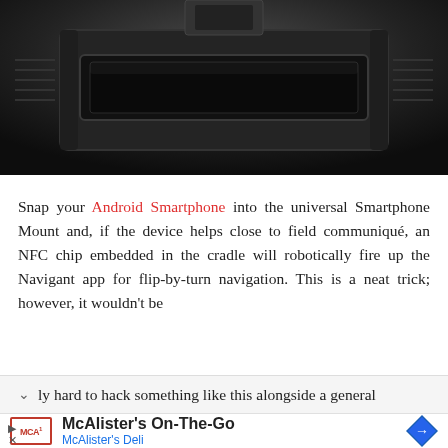[Figure (photo): Car dashboard interior, dark/black, showing a center console with a DIN slot or phone mount area, viewed from a low angle. Gray and black tones.]
Snap your Android Smartphone into the universal Smartphone Mount and, if the device helps close to field communiqué, an NFC chip embedded in the cradle will robotically fire up the Navigant app for flip-by-turn navigation. This is a neat trick; however, it wouldn't be ...y hard to hack something like this alongside a general
[Figure (infographic): Advertisement banner: McAlister's On-The-Go by McAlister's Deli, with logo and navigation arrow icon.]